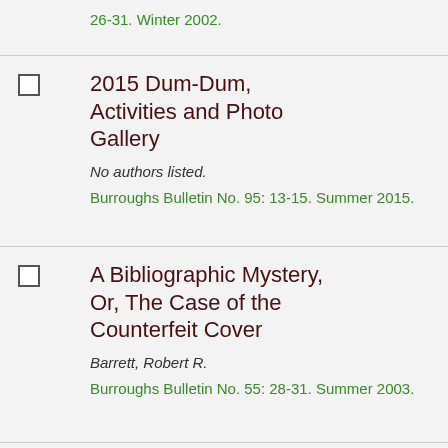26-31. Winter 2002.
2015 Dum-Dum, Activities and Photo Gallery
No authors listed.
Burroughs Bulletin No. 95: 13-15. Summer 2015.
A Bibliographic Mystery, Or, The Case of the Counterfeit Cover
Barrett, Robert R.
Burroughs Bulletin No. 55: 28-31. Summer 2003.
A Calendar for the…